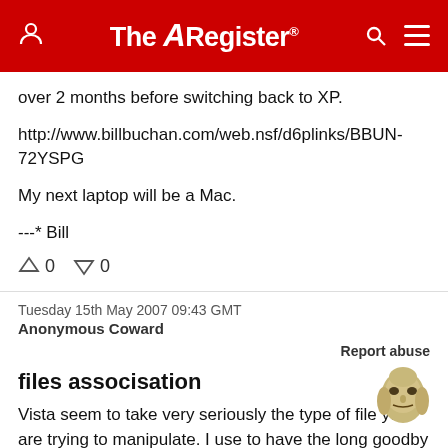The Register
over 2 months before switching back to XP.
http://www.billbuchan.com/web.nsf/d6plinks/BBUN-72YSPG
My next laptop will be a Mac.
---* Bill
↑0  ↓0
Tuesday 15th May 2007 09:43 GMT
Anonymous Coward
Report abuse
files associsation
[Figure (illustration): Anonymous Coward mask avatar - Guy Fawkes / V for Vendetta style mask]
Vista seem to take very seriously the type of file you are trying to manipulate. I use to have the long goodby problems. Local file that won't delete, well in fact